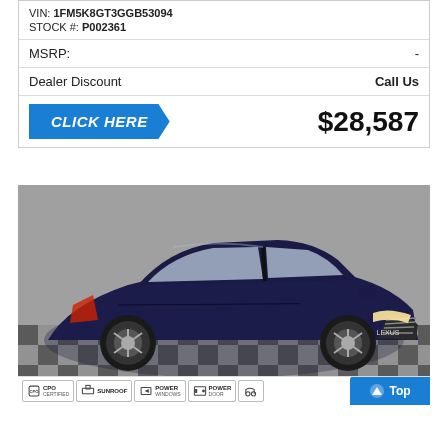VIN: 1FM5K8GT3GGB53094
STOCK #: P002361
| MSRP: | - |
| Dealer Discount | Call Us |
CLICK HERE   $28,587
[Figure (photo): Dark blue Lexus sedan displayed in a showroom with checkered floor, front 3/4 view. Badges at bottom: CPO CERTIFIED, SUNROOF, POWER (windows), POWER DOOR. Top button in corner.]